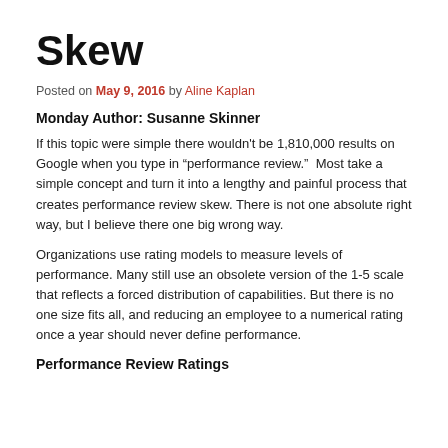Skew
Posted on May 9, 2016 by Aline Kaplan
Monday Author: Susanne Skinner
If this topic were simple there wouldn't be 1,810,000 results on Google when you type in “performance review.”  Most take a simple concept and turn it into a lengthy and painful process that creates performance review skew. There is not one absolute right way, but I believe there one big wrong way.
Organizations use rating models to measure levels of performance. Many still use an obsolete version of the 1-5 scale that reflects a forced distribution of capabilities. But there is no one size fits all, and reducing an employee to a numerical rating once a year should never define performance.
Performance Review Ratings